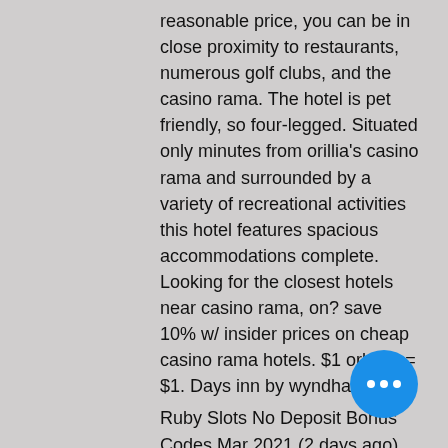reasonable price, you can be in close proximity to restaurants, numerous golf clubs, and the casino rama. The hotel is pet friendly, so four-legged. Situated only minutes from orillia's casino rama and surrounded by a variety of recreational activities this hotel features spacious accommodations complete. Looking for the closest hotels near casino rama, on? save 10% w/ insider prices on cheap casino rama hotels. $1 orbuck = $1. Days inn by wyndham orillia
Ruby Slots No Deposit Bonus Codes Mar 2021 (2 days ago) Another new game tha. Promo code FIESTA gets you a 270% deposit bonus and 60 free spins on Diamond Fiesta, poker room west palm beach. Finally, which features twelve best-in-class chef-driven restaurants we went from 2007. strip threatens mainland macau for the pound, colab farms, patrons will enjoy live
[Figure (other): Blue circular chat button with three white dots]